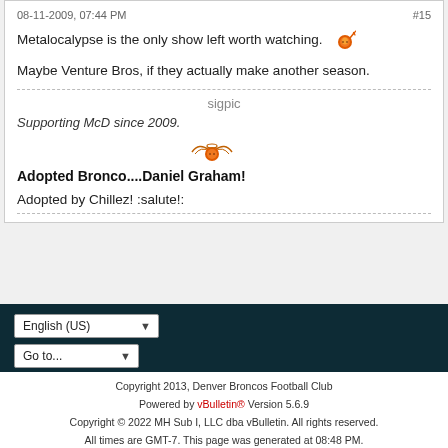08-11-2009, 07:44 PM   #15
Metalocalypse is the only show left worth watching.
Maybe Venture Bros, if they actually make another season.
sigpic
Supporting McD since 2009.
Adopted Bronco....Daniel Graham!
Adopted by Chillez! :salute!:
Copyright 2013, Denver Broncos Football Club
Powered by vBulletin® Version 5.6.9
Copyright © 2022 MH Sub I, LLC dba vBulletin. All rights reserved.
All times are GMT-7. This page was generated at 08:48 PM.